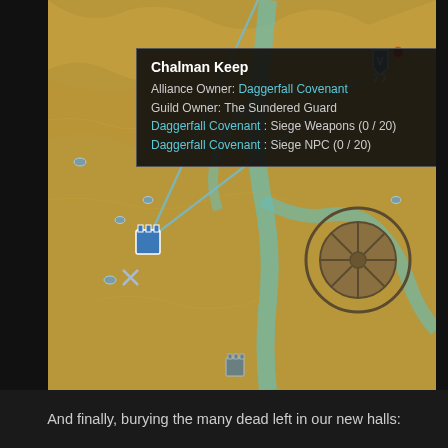[Figure (screenshot): Screenshot of an Elder Scrolls Online in-game map showing Chalman Keep with a tooltip overlay. The map has a golden-brown terrain with teal/cyan river features, map icons for keeps and resources. A tooltip box shows: Chalman Keep, Alliance Owner: Daggerfall Covenant, Guild Owner: The Sundered Guard, Daggerfall Covenant: Siege Weapons (0/20), Daggerfall Covenant: Siege NPC (0/20).]
And finally, burying the many dead left in our new halls: